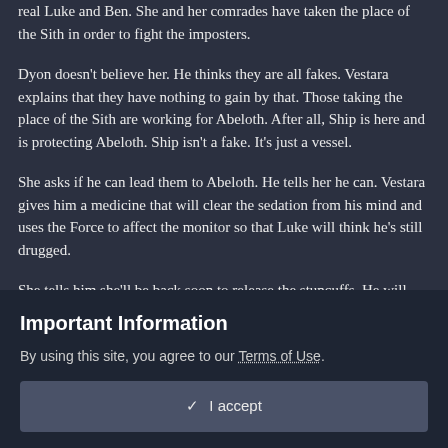real Luke and Ben. She and her comrades have taken the place of the Sith in order to fight the imposters.
Dyon doesn't believe her. He thinks they are all fakes. Vestara explains that they have nothing to gain by that. Those taking the place of the Sith are working for Abeloth. After all, Ship is here and is protecting Abeloth. Ship isn't a fake. It's just a vessel.
She asks if he can lead them to Abeloth. He tells her he can. Vestara gives him a medicine that will clear the sedation from his mind and uses the Force to affect the monitor so that Luke will think he's still drugged.
She tells him she'll be back soon to release the stuncuffs. He will need to pretend to be unconscious if the others come in.
Important Information
By using this site, you agree to our Terms of Use.
✓ I accept